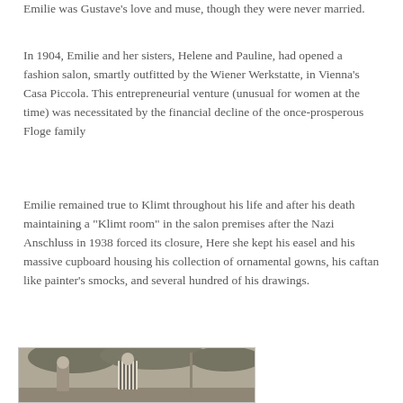Emilie was Gustave's love and muse, though they were never married.
In 1904, Emilie and her sisters, Helene and Pauline, had opened a fashion salon, smartly outfitted by the Wiener Werkstatte, in Vienna's Casa Piccola. This entrepreneurial venture (unusual for women at the time) was necessitated by the financial decline of the once-prosperous Floge family
Emilie remained true to Klimt throughout his life and after his death maintaining a "Klimt room" in the salon premises after the Nazi Anschluss in 1938 forced its closure, Here she kept his easel and his massive cupboard housing his collection of ornamental gowns, his caftan like painter's smocks, and several hundred of his drawings.
[Figure (photo): Black and white photograph of two people standing outdoors, one wearing a distinctive striped garment. Trees visible in the background.]